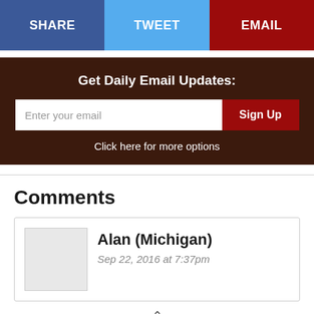[Figure (infographic): Social sharing button bar with SHARE (blue), TWEET (light blue), and EMAIL (dark red) buttons]
Get Daily Email Updates:
Enter your email  Sign Up
Click here for more options
Comments
Alan (Michigan)
Sep 22, 2016 at 7:37pm